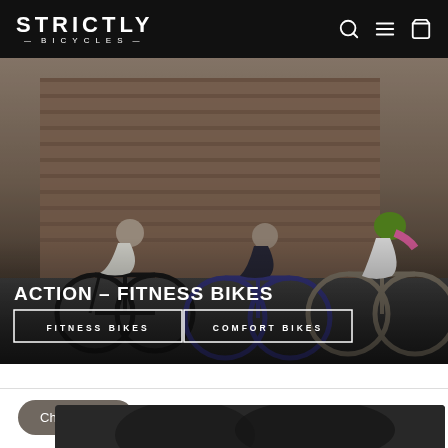STRICTLY BICYCLES — navigation header with logo, search, menu, and cart icons
[Figure (photo): Three cyclists riding bikes on a city street in front of a brick building. The cyclists wear helmets; one has a green helmet and pink hair, one wears black gear, and one wears a white shirt. The hero image has text overlay 'ACTION – FITNESS BIKES' with two buttons: 'FITNESS BIKES' and 'COMFORT BIKES'.]
Chat with us